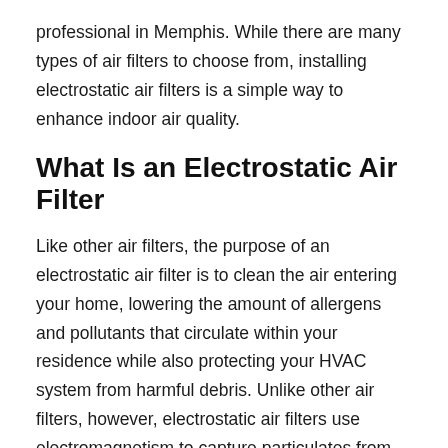professional in Memphis. While there are many types of air filters to choose from, installing electrostatic air filters is a simple way to enhance indoor air quality.
What Is an Electrostatic Air Filter
Like other air filters, the purpose of an electrostatic air filter is to clean the air entering your home, lowering the amount of allergens and pollutants that circulate within your residence while also protecting your HVAC system from harmful debris. Unlike other air filters, however, electrostatic air filters use electromagnetism to capture particulates from the air.